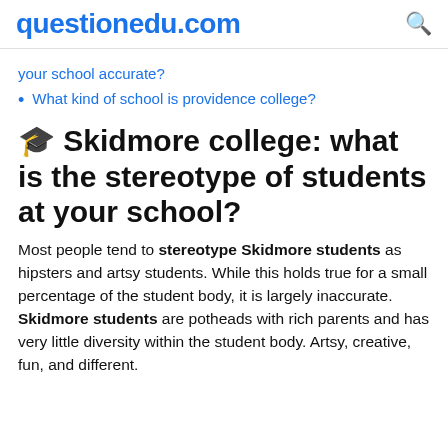questionedu.com
your school accurate?
What kind of school is providence college?
🎓 Skidmore college: what is the stereotype of students at your school?
Most people tend to stereotype Skidmore students as hipsters and artsy students. While this holds true for a small percentage of the student body, it is largely inaccurate. Skidmore students are potheads with rich parents and has very little diversity within the student body. Artsy, creative, fun, and different.